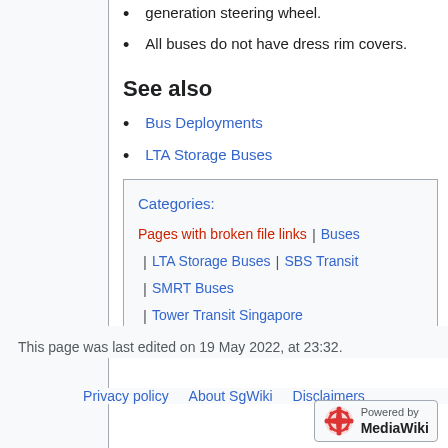generation steering wheel.
All buses do not have dress rim covers.
See also
Bus Deployments
LTA Storage Buses
Categories: Pages with broken file links | Buses | LTA Storage Buses | SBS Transit | SMRT Buses | Tower Transit Singapore
This page was last edited on 19 May 2022, at 23:32.
Privacy policy   About SgWiki   Disclaimers